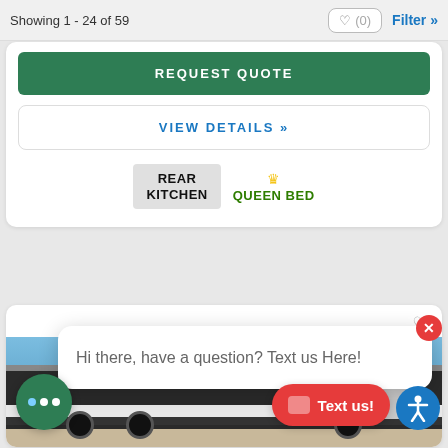Showing 1 - 24 of 59
REQUEST QUOTE
VIEW DETAILS »
[Figure (infographic): Two badges: REAR KITCHEN (gray badge) and QUEEN BED (green text with gold crown icon)]
[Figure (photo): Partial photo of an RV/travel trailer in a lot with blue sky, showing black and white exterior panels]
Hi there, have a question? Text us Here!